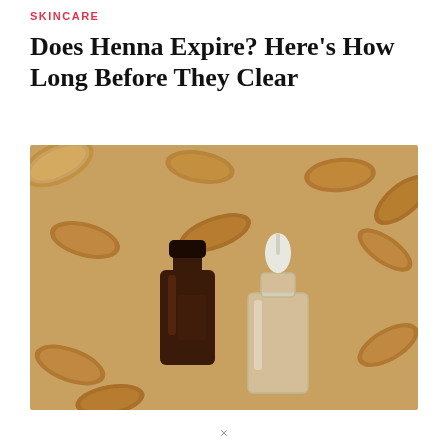SKINCARE
Does Henna Expire? Here's How Long Before They Clear
[Figure (photo): Flat lay photo on a warm beige/tan background showing scattered almonds, a small dark amber glass bottle with a black cap, and a clear glass dropper bottle with a white dropper top.]
×